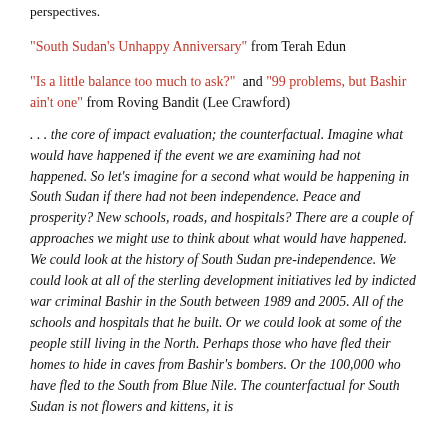perspectives.
"South Sudan's Unhappy Anniversary" from Terah Edun
"Is a little balance too much to ask?" and "99 problems, but Bashir ain't one" from Roving Bandit (Lee Crawford)
. . . the core of impact evaluation; the counterfactual. Imagine what would have happened if the event we are examining had not happened. So let's imagine for a second what would be happening in South Sudan if there had not been independence. Peace and prosperity? New schools, roads, and hospitals? There are a couple of approaches we might use to think about what would have happened. We could look at the history of South Sudan pre-independence. We could look at all of the sterling development initiatives led by indicted war criminal Bashir in the South between 1989 and 2005. All of the schools and hospitals that he built. Or we could look at some of the people still living in the North. Perhaps those who have fled their homes to hide in caves from Bashir's bombers. Or the 100,000 who have fled to the South from Blue Nile. The counterfactual for South Sudan is not flowers and kittens, it is